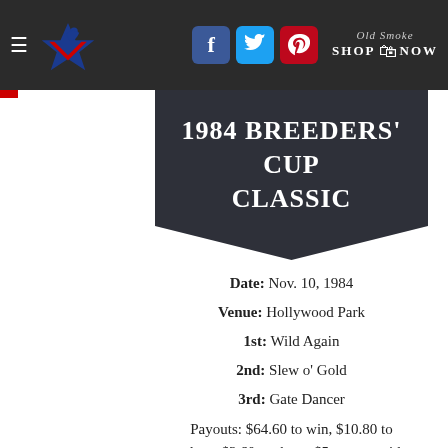Navigation bar with hamburger menu, racing star logo, Facebook/Twitter/Pinterest social icons, and Old Smoke Shop Now button
1984 BREEDERS' CUP CLASSIC
Date: Nov. 10, 1984
Venue: Hollywood Park
1st: Wild Again
2nd: Slew o' Gold
3rd: Gate Dancer
Payouts: $64.60 to win, $10.80 to place, $3.60 to show; $5 exacta paid $514.50